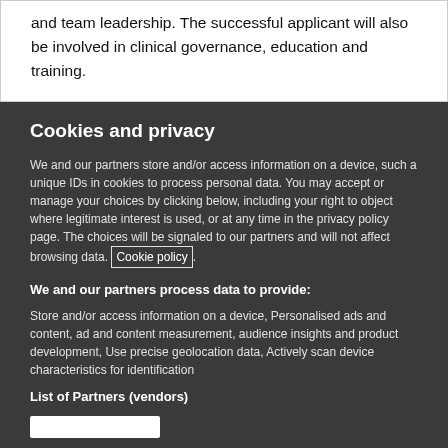and team leadership. The successful applicant will also be involved in clinical governance, education and training.
Cookies and privacy
We and our partners store and/or access information on a device, such a unique IDs in cookies to process personal data. You may accept or manage your choices by clicking below, including your right to object where legitimate interest is used, or at any time in the privacy policy page. These choices will be signaled to our partners and will not affect browsing data. Cookie policy.
We and our partners process data to provide:
Store and/or access information on a device, Personalised ads and content, ad and content measurement, audience insights and product development, Use precise geolocation data, Actively scan device characteristics for identification
List of Partners (vendors)